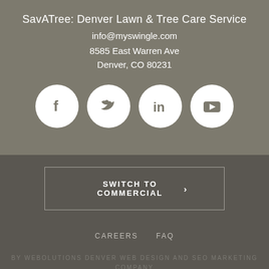SavATree: Denver Lawn & Tree Care Service
info@myswingle.com
8585 East Warren Ave
Denver, CO 80231
[Figure (infographic): Four white circular social media icons on gray background: Facebook, Twitter, LinkedIn, YouTube]
SWITCH TO COMMERCIAL ›
CAREERS    FAQ
BY WEBOLUTIONS DENVER WEB DESIGN AND SEO MARKETING COMPANY